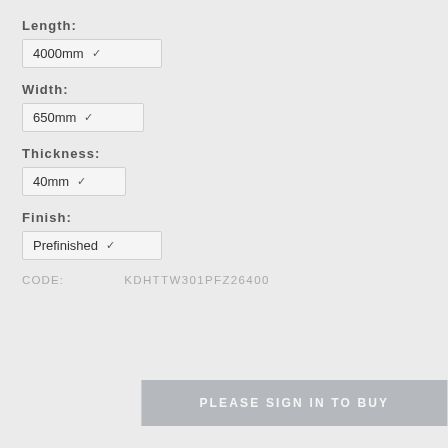Length:
4000mm
Width:
650mm
Thickness:
40mm
Finish:
Prefinished
CODE:   KDHTTW301PFZ26400
PLEASE SIGN IN TO BUY